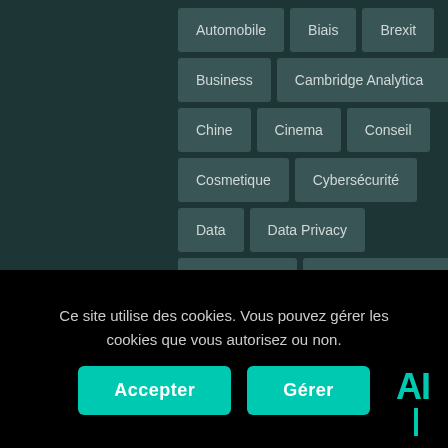[Figure (other): Tag cloud / category grid on dark teal background showing topic tags: Automobile, Biais, Brexit, Business, Cambridge Analytica, Chine, Cinema, Conseil, Cosmetique, Cybersécurité, Data, Data Privacy, Data Science, Données Personnelles, Droit, Environnement]
Ce site utilise des cookies. Vous pouvez gérer les cookies que vous autorisez ou non.
Accepter
Gérer